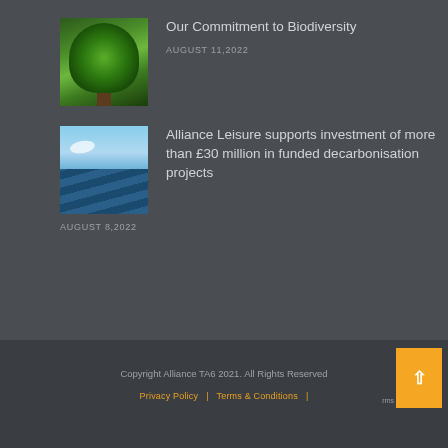Our Commitment to Biodiversity
AUGUST 11,2022
[Figure (photo): Photo of a large tree with green foliage against a bright background]
Alliance Leisure supports investment of more than £30 million in funded decarbonisation projects
[Figure (photo): Photo of solar panels under a blue sky with clouds]
AUGUST 8,2022
Copyright Alliance TA6 2021. All Rights Reserved
Privacy Policy  |  Terms & Conditions  |